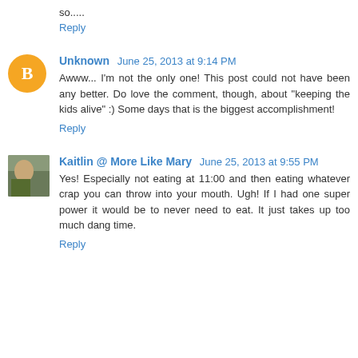so.....
Reply
Unknown  June 25, 2013 at 9:14 PM
Awww... I'm not the only one! This post could not have been any better. Do love the comment, though, about "keeping the kids alive" :) Some days that is the biggest accomplishment!
Reply
Kaitlin @ More Like Mary  June 25, 2013 at 9:55 PM
Yes! Especially not eating at 11:00 and then eating whatever crap you can throw into your mouth. Ugh! If I had one super power it would be to never need to eat. It just takes up too much dang time.
Reply